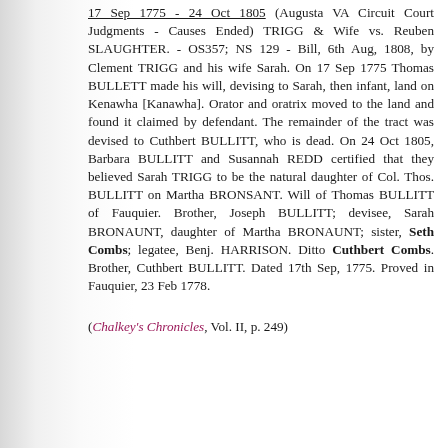17 Sep 1775 - 24 Oct 1805 (Augusta VA Circuit Court Judgments - Causes Ended) TRIGG & Wife vs. Reuben SLAUGHTER. - OS357; NS 129 - Bill, 6th Aug, 1808, by Clement TRIGG and his wife Sarah. On 17 Sep 1775 Thomas BULLETT made his will, devising to Sarah, then infant, land on Kenawha [Kanawha]. Orator and oratrix moved to the land and found it claimed by defendant. The remainder of the tract was devised to Cuthbert BULLITT, who is dead. On 24 Oct 1805, Barbara BULLITT and Susannah REDD certified that they believed Sarah TRIGG to be the natural daughter of Col. Thos. BULLITT on Martha BRONSANT. Will of Thomas BULLITT of Fauquier. Brother, Joseph BULLITT; devisee, Sarah BRONAUNT, daughter of Martha BRONAUNT; sister, Seth Combs; legatee, Benj. HARRISON. Ditto Cuthbert Combs. Brother, Cuthbert BULLITT. Dated 17th Sep, 1775. Proved in Fauquier, 23 Feb 1778.
(Chalkey's Chronicles, Vol. II, p. 249)